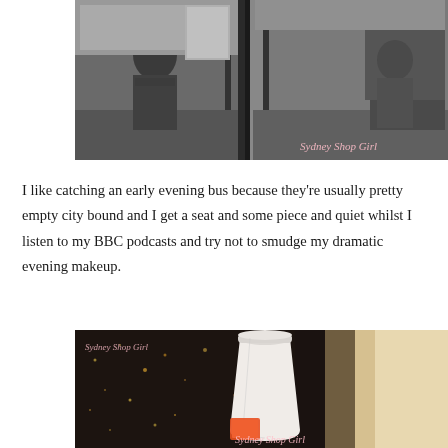[Figure (photo): Black and white photo taken inside a bus showing the door area and seats, with a person visible near the doors. Watermark reads 'Sydney Shop Girl' in pink cursive text at the bottom right.]
I like catching an early evening bus because they’re usually pretty empty city bound and I get a seat and some piece and quiet whilst I listen to my BBC podcasts and try not to smudge my dramatic evening makeup.
[Figure (photo): Color photo of a takeaway coffee cup with a white lid sitting on a surface with a dark sparkly background. Watermark reads 'Sydney Shop Girl' in pink cursive text. Partially visible orange label on the cup.]